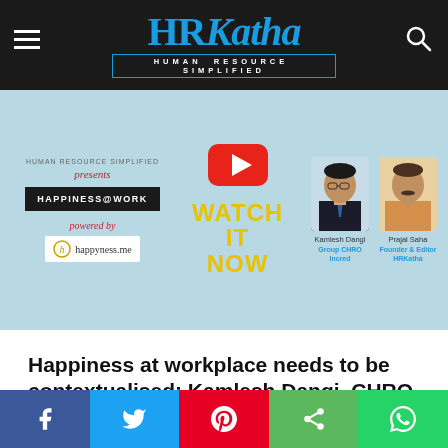HRKatha — HUMAN RESOURCE SIMPLIFIED
[Figure (photo): HRKatha Happiness@Work promotional banner featuring YouTube play button, Watch It Now text, Kamlesh Dangi (Group CHRO Incred) and Prajal Saha (Founder & Editor HRKatha), powered by happyness.me]
Happiness at workplace needs to be contextualised: Kamlesh Dangi, CHRO, Incred
[Figure (other): Newsletter signup box — GET HRKatha IN YOUR MAILBOX,]
Facebook | Twitter | Pinterest | Share | WhatsApp social sharing buttons